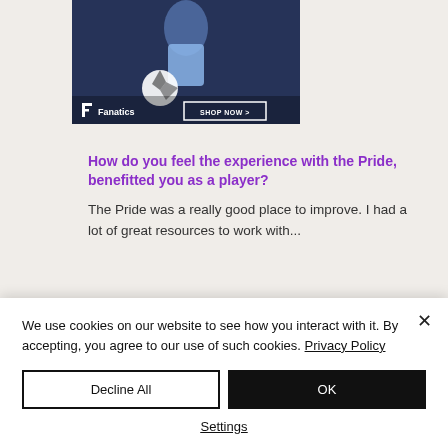[Figure (photo): Fanatics sports merchandise advertisement showing a soccer player in a light blue jersey with a soccer ball, with Fanatics logo and SHOP NOW button]
How do you feel the experience with the Pride, benefitted you as a player?
The Pride was a really good place to improve. I had a lot of great resources to work with...
We use cookies on our website to see how you interact with it. By accepting, you agree to our use of such cookies. Privacy Policy
Decline All
OK
Settings